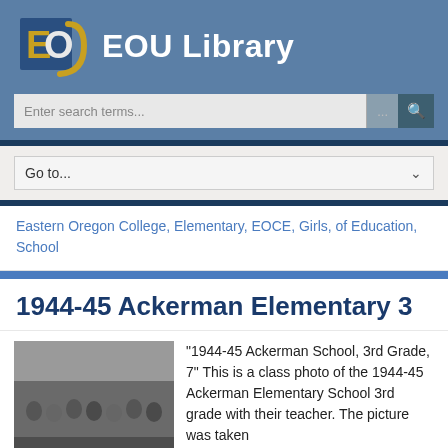[Figure (logo): EOU Library logo with blue and gold E and O letters]
EOU Library
Enter search terms...
Go to...
Eastern Oregon College, Elementary, EOCE, Girls, of Education, School
1944-45 Ackerman Elementary 3
[Figure (photo): Black and white class photo of 1944-45 Ackerman Elementary School 3rd grade]
"1944-45 Ackerman School, 3rd Grade, 7" This is a class photo of the 1944-45 Ackerman Elementary School 3rd grade with their teacher. The picture was taken